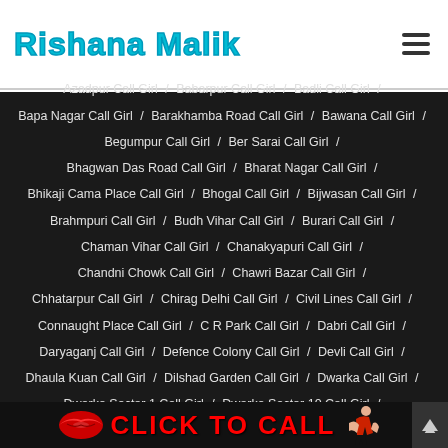Rishana Malik
Azadpur Call Girl / Babarpur Call Girl / Badli Call Girl / Bapa Nagar Call Girl / Barakhamba Road Call Girl / Bawana Call Girl / Begumpur Call Girl / Ber Sarai Call Girl / Bhagwan Das Road Call Girl / Bharat Nagar Call Girl / Bhikaji Cama Place Call Girl / Bhogal Call Girl / Bijwasan Call Girl / Brahmpuri Call Girl / Budh Vihar Call Girl / Burari Call Girl / Chaman Vihar Call Girl / Chanakyapuri Call Girl / Chandni Chowk Call Girl / Chawri Bazar Call Girl / Chhatarpur Call Girl / Chirag Delhi Call Girl / Civil Lines Call Girl / Connaught Place Call Girl / C R Park Call Girl / Dabri Call Girl / Daryaganj Call Girl / Defence Colony Call Girl / Devli Call Girl / Dhaula Kuan Call Girl / Dilshad Garden Call Girl / Dwarka Call Girl / Dwarka Sector 1 Call Girl / Dwarka Sector 10 Call Girl /
[Figure (infographic): Red lips icon on left, CLICK TO CALL text in red bold on dark background, woman illustration on right]